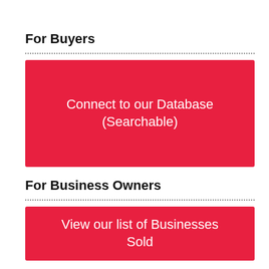For Buyers
[Figure (other): Red button with white text: Connect to our Database (Searchable)]
For Business Owners
[Figure (other): Red button with white text: View our list of Businesses Sold]